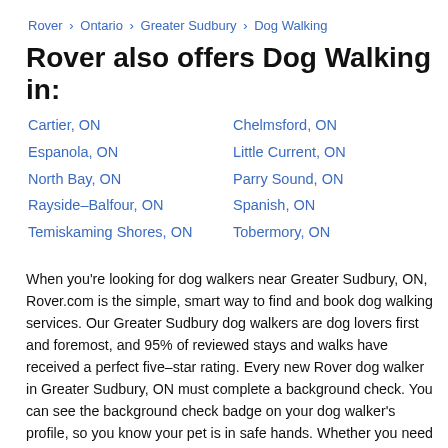Rover > Ontario > Greater Sudbury > Dog Walking
Rover also offers Dog Walking in:
Cartier, ON
Chelmsford, ON
Espanola, ON
Little Current, ON
North Bay, ON
Parry Sound, ON
Rayside–Balfour, ON
Spanish, ON
Temiskaming Shores, ON
Tobermory, ON
When you're looking for dog walkers near Greater Sudbury, ON, Rover.com is the simple, smart way to find and book dog walking services. Our Greater Sudbury dog walkers are dog lovers first and foremost, and 95% of reviewed stays and walks have received a perfect five–star rating. Every new Rover dog walker in Greater Sudbury, ON must complete a background check. You can see the background check badge on your dog walker's profile, so you know your pet is in safe hands. Whether you need to hire a dog walker for a single outing or want someone to go on regular dog walks with your pet, you're sure to find a great fit for all your dog walking needs in Greater Sudbury with Rover's dog walking services.